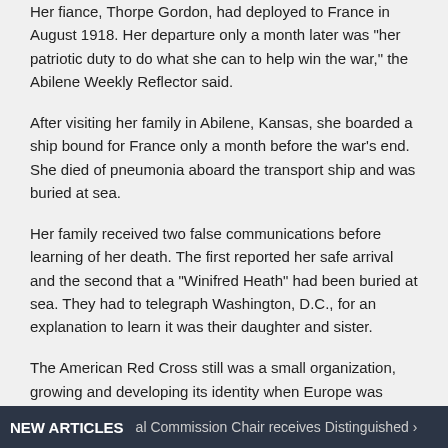Her fiance, Thorpe Gordon, had deployed to France in August 1918. Her departure only a month later was "her patriotic duty to do what she can to help win the war," the Abilene Weekly Reflector said.
After visiting her family in Abilene, Kansas, she boarded a ship bound for France only a month before the war's end. She died of pneumonia aboard the transport ship and was buried at sea.
Her family received two false communications before learning of her death. The first reported her safe arrival and the second that a "Winifred Heath" had been buried at sea. They had to telegraph Washington, D.C., for an explanation to learn it was their daughter and sister.
The American Red Cross still was a small organization, growing and developing its identity when Europe was thrown into conflict in 1914. Aid workers began serving
NEW ARTICLES   al Commission Chair receives Distinguished...